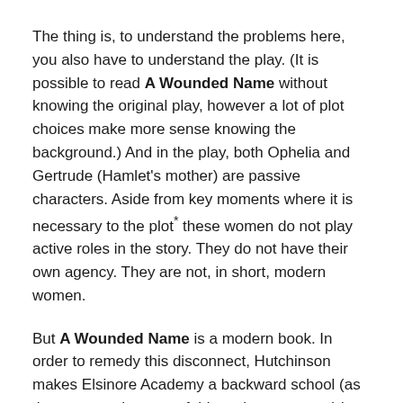The thing is, to understand the problems here, you also have to understand the play. (It is possible to read A Wounded Name without knowing the original play, however a lot of plot choices make more sense knowing the background.) And in the play, both Ophelia and Gertrude (Hamlet's mother) are passive characters. Aside from key moments where it is necessary to the plot* these women do not play active roles in the story. They do not have their own agency. They are not, in short, modern women.
But A Wounded Name is a modern book. In order to remedy this disconnect, Hutchinson makes Elsinore Academy a backward school (as the quote at the start of this review suggests) in order to offer some kind of crutch to explain Gertrude and Ophelia. Unfortunately it is done weakly and under any level of scrutiny the conceit falls apart.**